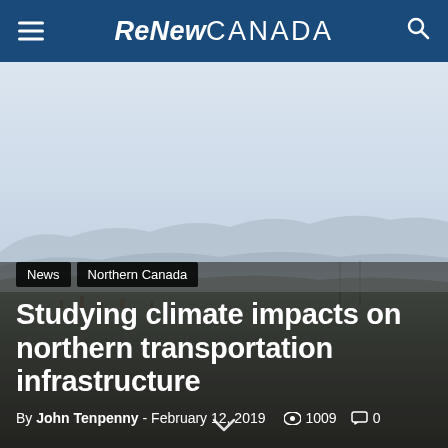ReNew CANADA
[Figure (photo): Aerial misty landscape view of northern Canadian terrain with mountains in the background and sparse settlement visible in the distance.]
News | Northern Canada
Studying climate impacts on northern transportation infrastructure
By John Tenpenny - February 12, 2019  👁 1009  💬 0